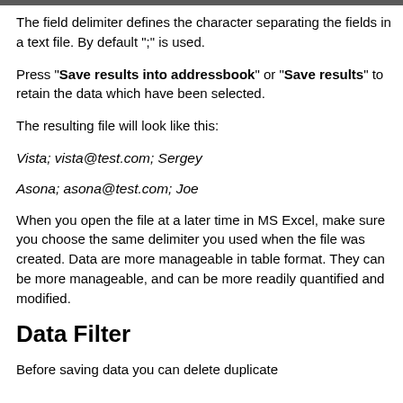The field delimiter defines the character separating the fields in a text file. By default ";" is used.
Press "Save results into addressbook" or "Save results" to retain the data which have been selected.
The resulting file will look like this:
Vista; vista@test.com; Sergey
Asona; asona@test.com; Joe
When you open the file at a later time in MS Excel, make sure you choose the same delimiter you used when the file was created. Data are more manageable in table format. They can be more manageable, and can be more readily quantified and modified.
Data Filter
Before saving data you can delete duplicate